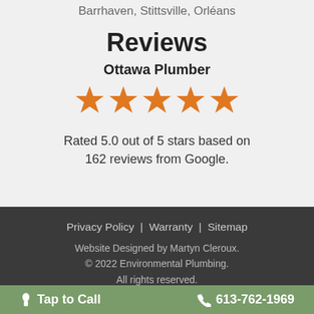Barrhaven, Stittsville, Orléans
Reviews
Ottawa Plumber
[Figure (other): Five orange star rating icons]
Rated 5.0 out of 5 stars based on 162 reviews from Google.
Privacy Policy | Warranty | Sitemap
Website Designed by Martyn Cleroux.
© 2022 Environmental Plumbing.
All rights reserved.
Tap to Call   613-762-1969